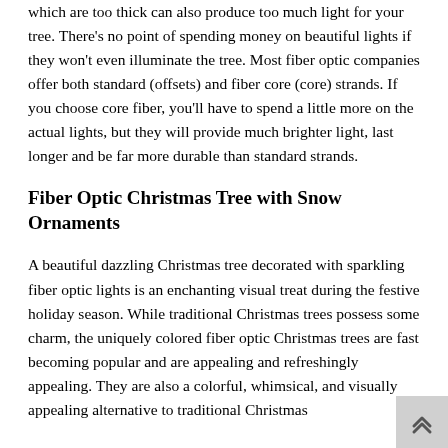which are too thick can also produce too much light for your tree. There's no point of spending money on beautiful lights if they won't even illuminate the tree. Most fiber optic companies offer both standard (offsets) and fiber core (core) strands. If you choose core fiber, you'll have to spend a little more on the actual lights, but they will provide much brighter light, last longer and be far more durable than standard strands.
Fiber Optic Christmas Tree with Snow Ornaments
A beautiful dazzling Christmas tree decorated with sparkling fiber optic lights is an enchanting visual treat during the festive holiday season. While traditional Christmas trees possess some charm, the uniquely colored fiber optic Christmas trees are fast becoming popular and are appealing and refreshingly appealing. They are also a colorful, whimsical, and visually appealing alternative to traditional Christmas